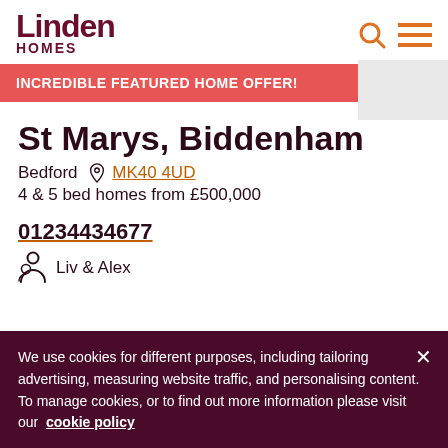Linden HOMES
INCREDIBLE FEATURED HOME OFFER!
St Marys, Biddenham
Bedford MK40 4UD
4 & 5 bed homes from £500,000
01234434677
Liv & Alex
We use cookies for different purposes, including tailoring advertising, measuring website traffic, and personalising content. To manage cookies, or to find out more information please visit our cookie policy